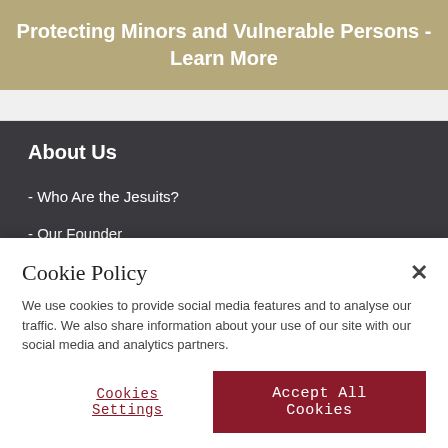Protecting Minors and Vulnerable Persons - Learn More
About Us
- Who Are the Jesuits?
- Our Founder
- Frequently Asked Questions
Cookie Policy
We use cookies to provide social media features and to analyse our traffic. We also share information about your use of our site with our social media and analytics partners.
Cookies Settings
Accept All Cookies